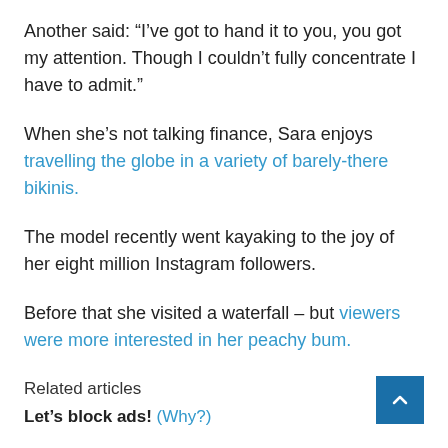Another said: “I’ve got to hand it to you, you got my attention. Though I couldn’t fully concentrate I have to admit.”
When she’s not talking finance, Sara enjoys travelling the globe in a variety of barely-there bikinis.
The model recently went kayaking to the joy of her eight million Instagram followers.
Before that she visited a waterfall – but viewers were more interested in her peachy bum.
Related articles
Let’s block ads! (Why?)